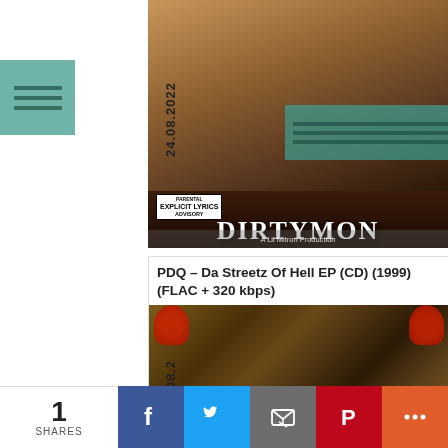[Figure (photo): Album cover for Lil Monty – Dirtymon rap album. Close-up of a man's face embedded in dirt/earth, with 'DIRTYMON' text at the bottom in white distressed font. Parental Advisory Explicit Lyrics sticker visible. Date 24.08.2022 shown vertically on left side. Teal/green horizontal stripe overlay.]
PDQ – Da Streetz Of Hell EP (CD) (1999) (FLAC + 320 kbps)
[Figure (photo): Album cover for PDQ – Da Streetz Of Hell EP. Shows 'DA STREETZ' text in large brown/gold letters over a dollar bill background with clown imagery. Date 24.08.2 shown vertically.]
1 SHARES  [Facebook] [Twitter] [Email] [Pinterest] [More]